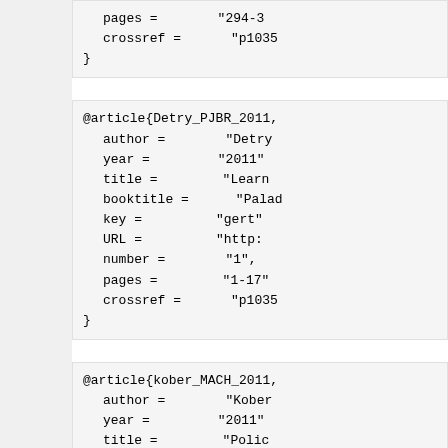pages = "294-3"
  crossref = "p1035"
}
@article{Detry_PJBR_2011,
  author = "Detry"
  year = "2011"
  title = "Learn"
  booktitle = "Palad"
  key = "gert"
  URL = "http:"
  number = "1",
  pages = "1-17"
  crossref = "p1035"
}
@article{kober_MACH_2011,
  author = "Kober"
  year = "2011"
  title = "Polic"
  booktitle = "Machi"
  URL = "http:"
  number = "1-2",
  pages = "171-2"
  crossref = "p1035"